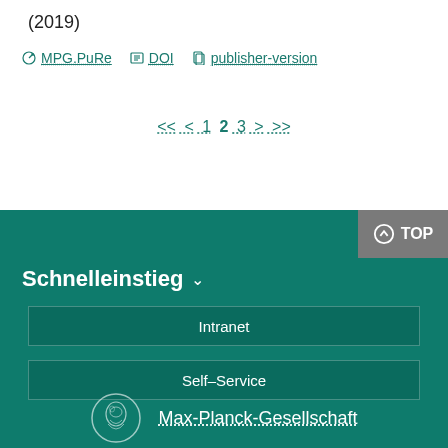(2019)
⊙ MPG.PuRe   ≡ DOI   □ publisher-version
<< < 1 2 3 > >>
Schnelleinstieg ∨
Intranet
Self–Service
Max-Planck-Gesellschaft